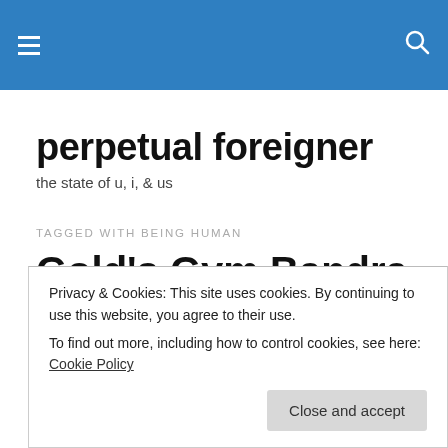≡  🔍
perpetual foreigner
the state of u, i, & us
TAGGED WITH BEING HUMAN
Gold's Gym Bandra & The Final Countdown
Privacy & Cookies: This site uses cookies. By continuing to use this website, you agree to their use.
To find out more, including how to control cookies, see here: Cookie Policy
Close and accept